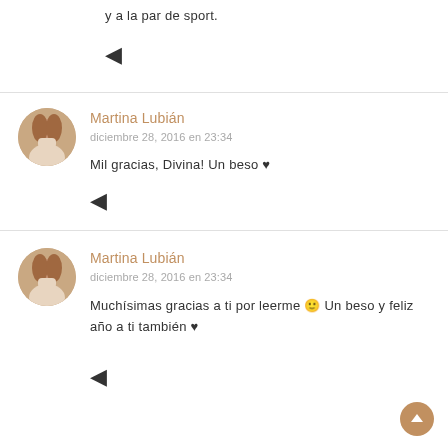y a la par de sport.
↩ (reply arrow)
Martina Lubián
diciembre 28, 2016 en 23:34
Mil gracias, Divina! Un beso ♥
↩ (reply arrow)
Martina Lubián
diciembre 28, 2016 en 23:34
Muchísimas gracias a ti por leerme 🙂 Un beso y feliz año a ti también ♥
↩ (reply arrow)